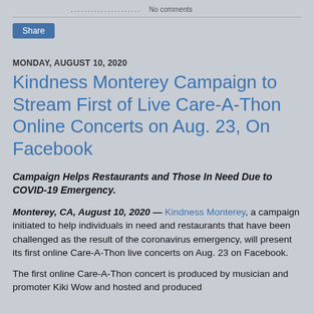...........................  No comments
Share
MONDAY, AUGUST 10, 2020
Kindness Monterey Campaign to Stream First of Live Care-A-Thon Online Concerts on Aug. 23, On Facebook
Campaign Helps Restaurants and Those In Need Due to COVID-19 Emergency.
Monterey, CA, August 10, 2020 — Kindness Monterey, a campaign initiated to help individuals in need and restaurants that have been challenged as the result of the coronavirus emergency, will present its first online Care-A-Thon live concerts on Aug. 23 on Facebook.
The first online Care-A-Thon concert is produced by musician and promoter Kiki Wow and hosted and produced